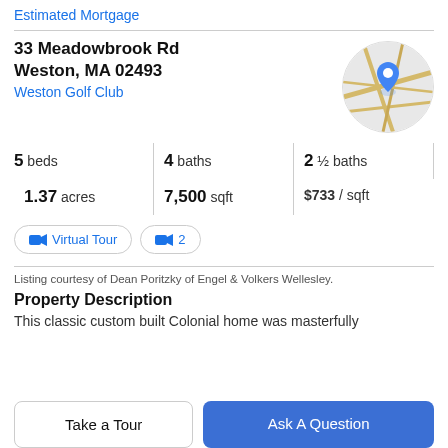Estimated Mortgage
33 Meadowbrook Rd
Weston, MA 02493
Weston Golf Club
[Figure (map): Circular Google Maps thumbnail showing street map with blue location pin marker]
5 beds   4 baths   2 ½ baths   1.37 acres   7,500 sqft   $733 / sqft
Virtual Tour   2
Listing courtesy of Dean Poritzky of Engel & Volkers Wellesley.
Property Description
This classic custom built Colonial home was masterfully
Take a Tour
Ask A Question